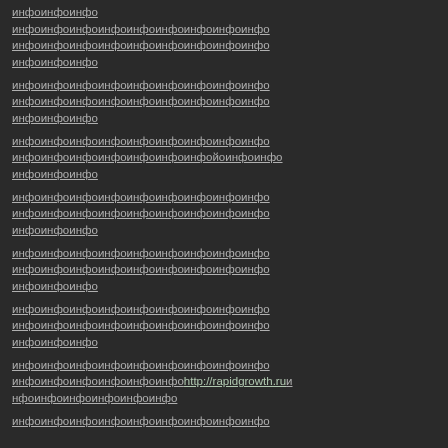инфоинфоинфо инфоинфоинфоинфоинфоинфоинфоинфоинфо инфоинфоинфоинфоинфоинфоинфоинфоинфо инфоинфоинфо инфоинфоинфоинфоинфоинфоинфоинфоинфо инфоинфоинфоинфоинфоинфоинфоинфоинфо инфоинфоинфо инфоинфоинфоинфоинфоинфоинфоинфоинфо инфоинфоинфоинфоинфоинфоинфойоинфоинфо инфоинфоинфо инфоинфоинфоинфоинфоинфоинфоинфоинфо инфоинфоинфоинфоинфоинфоинфоинфоинфо инфоинфоинфо инфоинфоинфоинфоинфоинфоинфоинфоинфо инфоинфоинфоинфоинфоинфоинфоинфоинфо инфоинфоинфо инфоинфоинфоинфоинфоинфоинфоинфоинфо инфоинфоинфоинфоинфоинфоинфоинфоинфо инфоинфоинфо инфоинфоинфоинфоинфоинфоинфоинфоинфо инфоинфоинфоинфоинфоинфоhttp://rapidgrowth.ru инфоинфоинфоинфоинфоинфо инфоинфоинфоинфоинфоинфоинфоинфоинфо